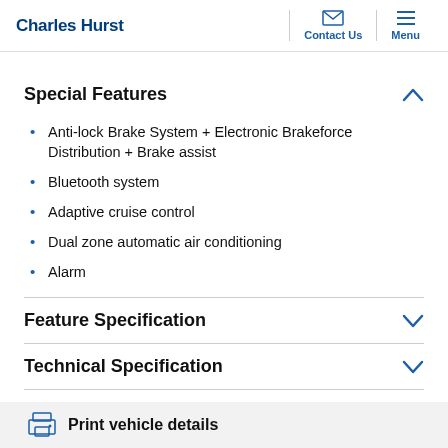Charles Hurst — Contact Us | Menu
Special Features
Anti-lock Brake System + Electronic Brakeforce Distribution + Brake assist
Bluetooth system
Adaptive cruise control
Dual zone automatic air conditioning
Alarm
Feature Specification
Technical Specification
General
Print vehicle details